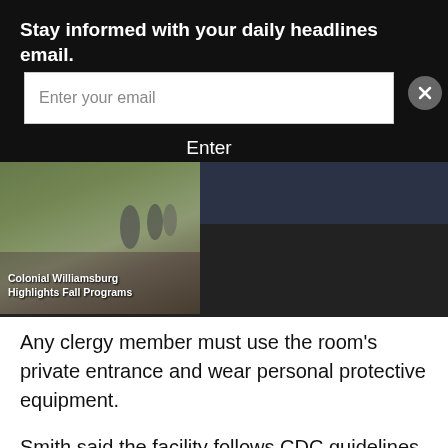Stay informed with your daily headlines email.
[Figure (screenshot): Email signup form with text input 'Enter your email' and black 'Enter' button, plus a close (X) button]
[Figure (photo): Thumbnail image of Colonial Williamsburg outdoor scene with text overlay: 'Colonial Williamsburg Highlights Fall Programs']
Any clergy member must use the room's private entrance and wear personal protective equipment.
Smith said the facility follows CDC guidelines and checks the temperatures of people who wish to enter the patient's room, including members